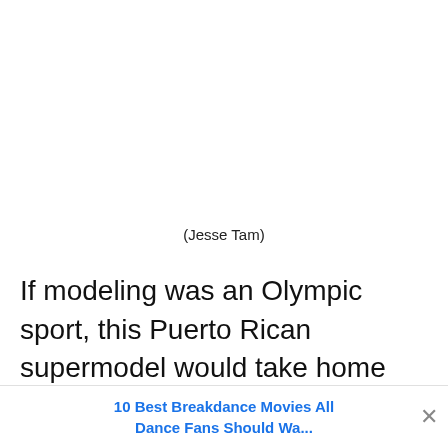(Jesse Tam)
If modeling was an Olympic sport, this Puerto Rican supermodel would take home the gold. With her mile-long legs, she's been strutting her stuff on the runway for major labels including Rihanna's Savage X Fenty lingerie li...t Off-Whit...
10 Best Breakdance Movies All Dance Fans Should Wa...